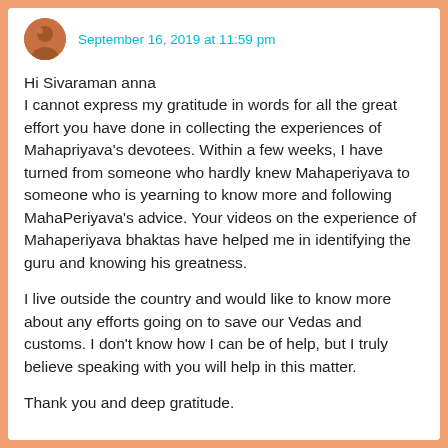September 16, 2019 at 11:59 pm
Hi Sivaraman anna
I cannot express my gratitude in words for all the great effort you have done in collecting the experiences of Mahapriyava's devotees. Within a few weeks, I have turned from someone who hardly knew Mahaperiyava to someone who is yearning to know more and following MahaPeriyava's advice. Your videos on the experience of Mahaperiyava bhaktas have helped me in identifying the guru and knowing his greatness.
I live outside the country and would like to know more about any efforts going on to save our Vedas and customs. I don't know how I can be of help, but I truly believe speaking with you will help in this matter.
Thank you and deep gratitude.
—